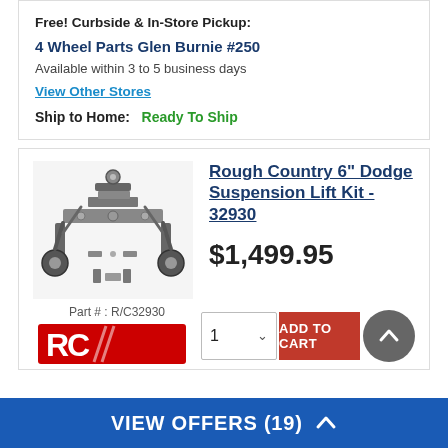Free! Curbside & In-Store Pickup:
4 Wheel Parts Glen Burnie #250
Available within 3 to 5 business days
View Other Stores
Ship to Home:  Ready To Ship
[Figure (photo): Rough Country 6-inch Dodge Suspension Lift Kit parts laid out]
Rough Country 6" Dodge Suspension Lift Kit - 32930
$1,499.95
Part #: R/C32930
[Figure (logo): Rough Country red RC brand logo]
ADD TO CART
VIEW OFFERS (19)